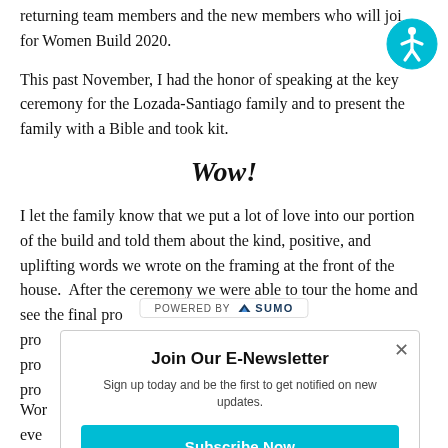returning team members and the new members who will join for Women Build 2020.
This past November, I had the honor of speaking at the key ceremony for the Lozada-Santiago family and to present the family with a Bible and took kit.
Wow!
I let the family know that we put a lot of love into our portion of the build and told them about the kind, positive, and uplifting words we wrote on the framing at the front of the house.  After the ceremony we were able to tour the home and see the final pro...
[Figure (infographic): POWERED BY SUMO banner overlay]
[Figure (infographic): Accessibility icon - teal circle with person figure]
Join Our E-Newsletter popup with Subscribe Now button. Sign up today and be the first to get notified on new updates.